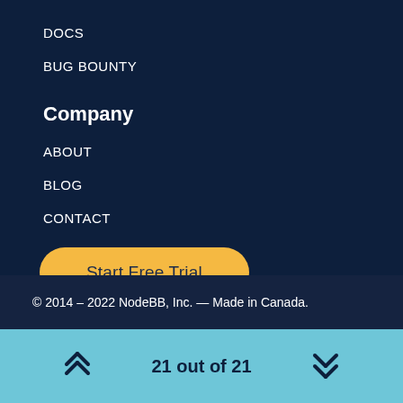DOCS
BUG BOUNTY
Company
ABOUT
BLOG
CONTACT
Start Free Trial
[Figure (illustration): Social media icons: GitHub, Facebook, Instagram, Twitter]
© 2014 – 2022 NodeBB, Inc. — Made in Canada.
21 out of 21